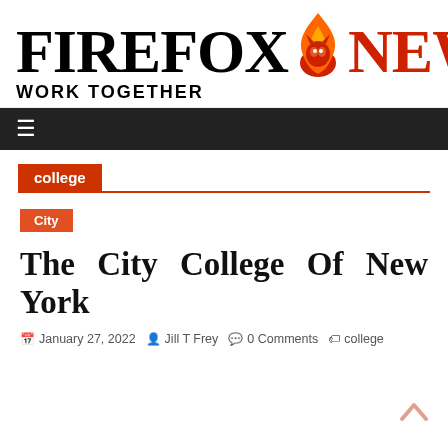FIREFOX NEWS — WORK TOGETHER
college
City
The City College Of New York
January 27, 2022  Jill T Frey  0 Comments  college